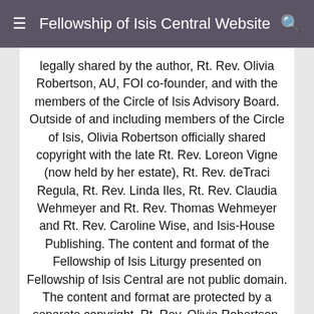Fellowship of Isis Central Website
legally shared by the author, Rt. Rev. Olivia Robertson, AU, FOI co-founder, and with the members of the Circle of Isis Advisory Board. Outside of and including members of the Circle of Isis, Olivia Robertson officially shared copyright with the late Rt. Rev. Loreon Vigne (now held by her estate), Rt. Rev. deTraci Regula, Rt. Rev. Linda Iles, Rt. Rev. Claudia Wehmeyer and Rt. Rev. Thomas Wehmeyer and Rt. Rev. Caroline Wise, and Isis-House Publishing. The content and format of the Fellowship of Isis Liturgy presented on Fellowship of Isis Central are not public domain. The content and format are protected by a separate copyright. Rt. Rev. Olivia Robertson, FOI co-founder, personally upholds our copyright. Private or public